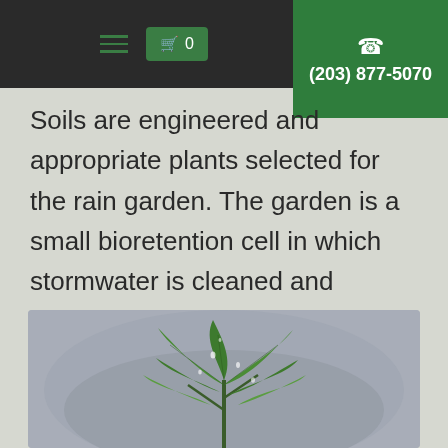☰  🛒 0   ☎ (203) 877-5070
Soils are engineered and appropriate plants selected for the rain garden. The garden is a small bioretention cell in which stormwater is cleaned and reduced in volume once it enters the rain garden.
[Figure (photo): Close-up photograph of a green plant with leaves glistening with water droplets, against a blurred grey/blue background.]